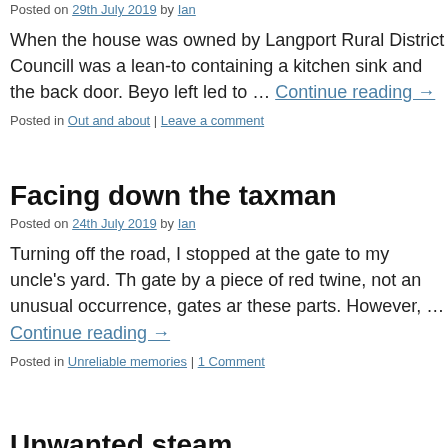Posted on 29th July 2019 by Ian
When the house was owned by Langport Rural District Council was a lean-to containing a kitchen sink and the back door. Beyo left led to … Continue reading →
Posted in Out and about | Leave a comment
Facing down the taxman
Posted on 24th July 2019 by Ian
Turning off the road, I stopped at the gate to my uncle's yard. T gate by a piece of red twine, not an unusual occurrence, gates ar these parts. However, … Continue reading →
Posted in Unreliable memories | 1 Comment
Unwanted steam
Posted on 22nd July 2019 by Ian